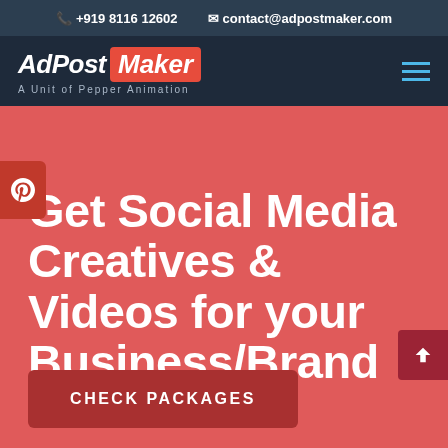+919 8116 12602  contact@adpostmaker.com
[Figure (logo): AdPost Maker logo - white italic text with red background on 'Maker', subtitle 'A Unit of Pepper Animation']
Get Social Media Creatives & Videos for your Business/Brand
CHECK PACKAGES